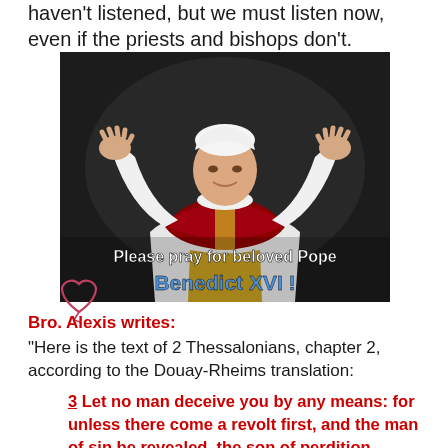haven't listened, but we must listen now, even if the priests and bishops don't.
[Figure (photo): Photo of Pope Benedict XVI in papal vestments, arms raised, with overlay text 'Please pray for beloved Pope Benedict XVI !' and a hand-drawn heart icon in the lower left.]
Bro. Alexis writes:
“Here is the text of 2 Thessalonians, chapter 2, according to the Douay-Rheims translation:
3 Let no man deceive you by any means: for unless there come a revolt first, and the man of sin be revealed, the son of perdition